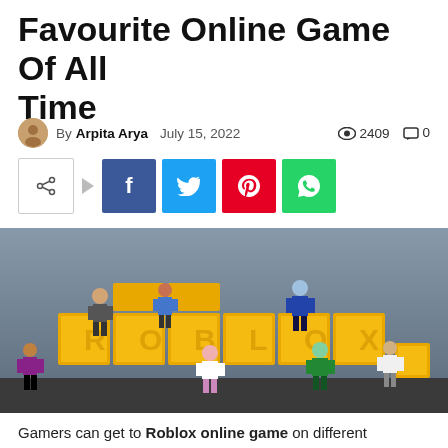Favourite Online Game Of All Time
By Arpita Arya  July 15, 2022  2409  0
[Figure (infographic): Social share buttons: share icon, arrow, Facebook (f), Twitter (bird), Pinterest (p), WhatsApp (phone)]
[Figure (photo): Roblox toy figurines posed in front of large yellow ROBLOX letter blocks. Multiple colorful characters standing and posing on and around the blocks against a grey-blue background.]
Gamers can get to Roblox online game on different